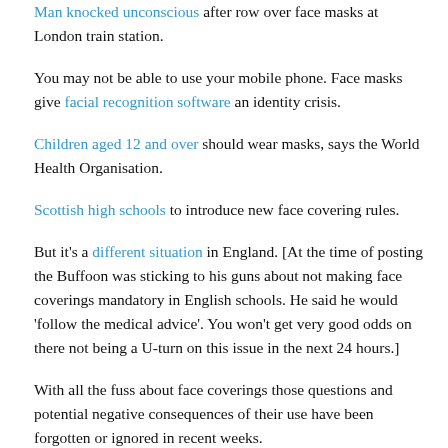Man knocked unconscious after row over face masks at London train station.
You may not be able to use your mobile phone. Face masks give facial recognition software an identity crisis.
Children aged 12 and over should wear masks, says the World Health Organisation.
Scottish high schools to introduce new face covering rules.
But it's a different situation in England. [At the time of posting the Buffoon was sticking to his guns about not making face coverings mandatory in English schools. He said he would 'follow the medical advice'. You won't get very good odds on there not being a U-turn on this issue in the next 24 hours.]
With all the fuss about face coverings those questions and potential negative consequences of their use have been forgotten or ignored in recent weeks.
Professor Russell Viner, a member of SAGE, on BBC2's